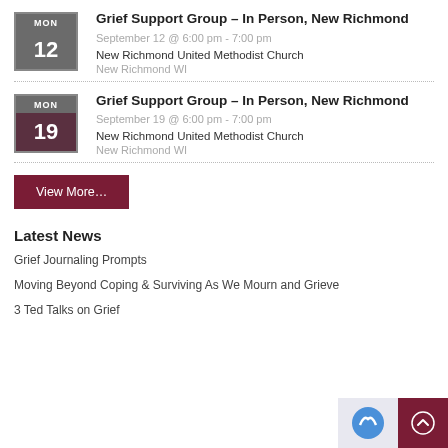Grief Support Group – In Person, New Richmond
September 12 @ 6:00 pm - 7:00 pm
New Richmond United Methodist Church
New Richmond WI
Grief Support Group – In Person, New Richmond
September 19 @ 6:00 pm - 7:00 pm
New Richmond United Methodist Church
New Richmond WI
View More…
Latest News
Grief Journaling Prompts
Moving Beyond Coping & Surviving As We Mourn and Grieve
3 Ted Talks on Grief